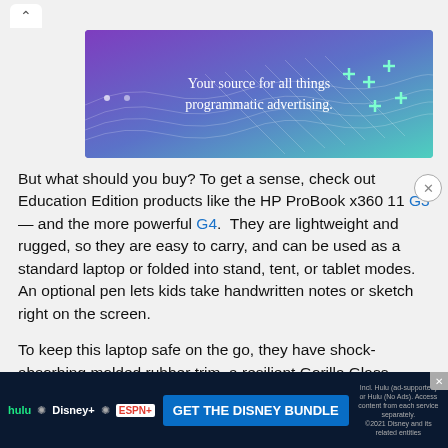[Figure (infographic): Advertisement banner with purple-to-teal gradient background, grid mesh graphic, plus signs, and text 'Your source for all things programmatic advertising.']
But what should you buy? To get a sense, check out Education Edition products like the HP ProBook x360 11 G3 — and the more powerful G4.  They are lightweight and rugged, so they are easy to carry, and can be used as a standard laptop or folded into stand, tent, or tablet modes. An optional pen lets kids take handwritten notes or sketch right on the screen.
To keep this laptop safe on the go, they have shock-absorbing molded rubber trim, a resilient Gorilla Glass screen, and a spill-resistant keyboard. That means they should e just fine bo s' slim
[Figure (infographic): Disney Bundle advertisement banner at the bottom of the page with Hulu, Disney+, and ESPN+ logos, 'GET THE DISNEY BUNDLE' call to action button, and fine print text.]